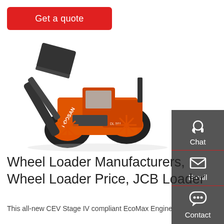Get a quote
[Figure (photo): Orange and black Doosan wheel loader (DL501) with raised bucket arm on white background]
[Figure (infographic): Dark grey sidebar with Chat (headset icon), Email (envelope icon), and Contact (speech bubble icon) buttons separated by red lines]
Wheel Loader Manufacturers, Wheel Loader Price, JCB Loader
This all-new CEV Stage IV compliant EcoMax Engine